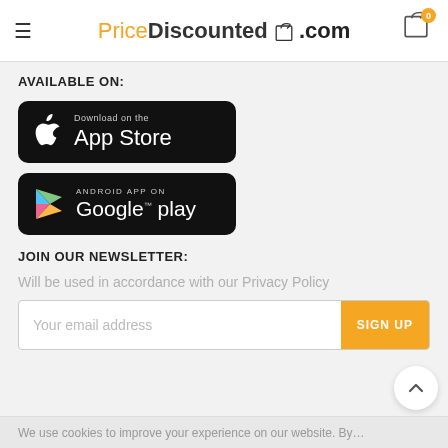PriceDiscounted.com
AVAILABLE ON:
[Figure (logo): Download on the App Store badge — black rounded rectangle with Apple logo and text 'Download on the App Store']
[Figure (logo): Android App on Google Play badge — black rounded rectangle with Google Play triangle logo and text 'ANDROID APP ON Google play']
JOIN OUR NEWSLETTER:
Will be used in accordance with our Privacy Policy
Your email address  SIGN UP